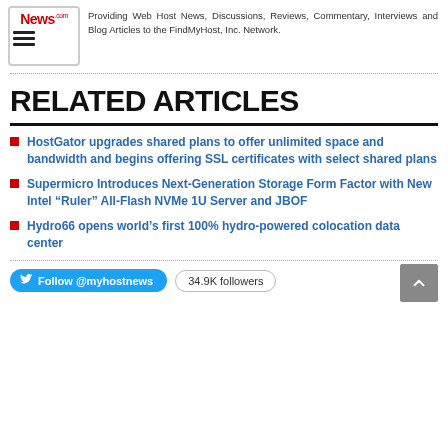[Figure (logo): News.com logo with hamburger menu icon]
Providing Web Host News, Discussions, Reviews, Commentary, Interviews and Blog Articles to the FindMyHost, Inc. Network.
RELATED ARTICLES
HostGator upgrades shared plans to offer unlimited space and bandwidth and begins offering SSL certificates with select shared plans
Supermicro Introduces Next-Generation Storage Form Factor with New Intel “Ruler” All-Flash NVMe 1U Server and JBOF
Hydro66 opens world’s first 100% hydro-powered colocation data center
Follow @myhostnews   34.9K followers